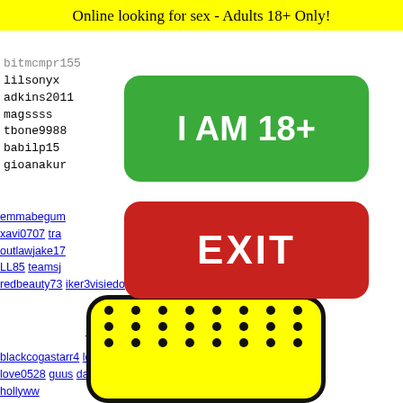Online looking for sex - Adults 18+ Only!
lilsonyx
adkins2011
magssss
tbone9988
babilp15
gioanakur
[Figure (other): Green button reading 'I AM 18+']
[Figure (other): Red button reading 'EXIT']
emmabegum  2010  xavi0707 tra  esbignipples  outlawjake17  enm92  LL85 teamsj  allexx05  redbeauty73 iker3visiedo alconsteanonimee smiley_cal naxirul99
19218 19219 19220 19221 19222
blackcogastarr4 lo  19218 19219 19220 19221 19222  hemoon13
love0528 guus darthy1977 vanillaicing111 nfranceschino05
hollyww uknowwh margherit de92193 xm1166f
[Figure (illustration): Yellow emoji face with black dots and bow tie at bottom of page]